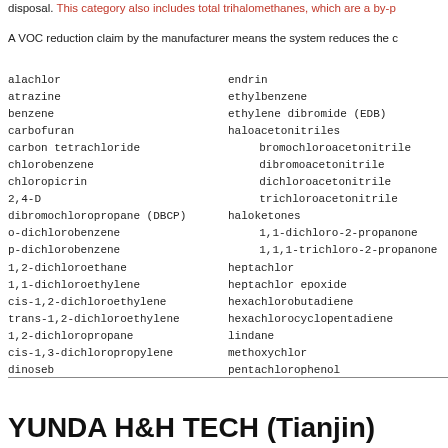disposal. This category also includes total trihalomethanes, which are a by-p
A VOC reduction claim by the manufacturer means the system reduces the c
alachlor
atrazine
benzene
carbofuran
carbon tetrachloride
chlorobenzene
chloropicrin
2,4-D
dibromochloropropane (DBCP)
o-dichlorobenzene
p-dichlorobenzene
1,2-dichloroethane
1,1-dichloroethylene
cis-1,2-dichloroethylene
trans-1,2-dichloroethylene
1,2-dichloropropane
cis-1,3-dichloropropylene
dinoseb
endrin
ethylbenzene
ethylene dibromide (EDB)
haloacetonitriles
bromochloroacetonitrile
dibromoacetonitrile
dichloroacetonitrile
trichloroacetonitrile
haloketones
1,1-dichloro-2-propanone
1,1,1-trichloro-2-propanone
heptachlor
heptachlor epoxide
hexachlorobutadiene
hexachlorocyclopentadiene
lindane
methoxychlor
pentachlorophenol
YUNDA H&H TECH (Tianjin)